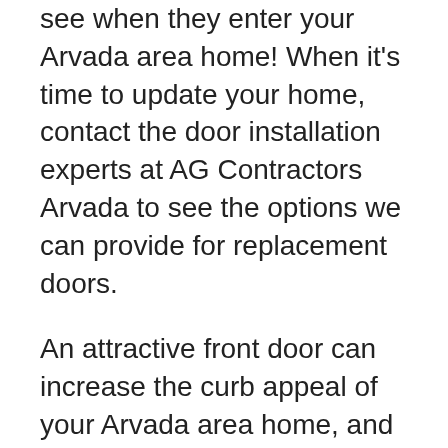see when they enter your Arvada area home! When it's time to update your home, contact the door installation experts at AG Contractors Arvada to see the options we can provide for replacement doors.
An attractive front door can increase the curb appeal of your Arvada area home, and replacement doors throughout your home can greatly increase the perceived value of the interior. You will have a hard time finding a more beautiful, affordable investment for your home. AG Contractors provides door installation services for the Arvada, Colorado area. Our experienced professionals can install any type of replacement doors and we can customize